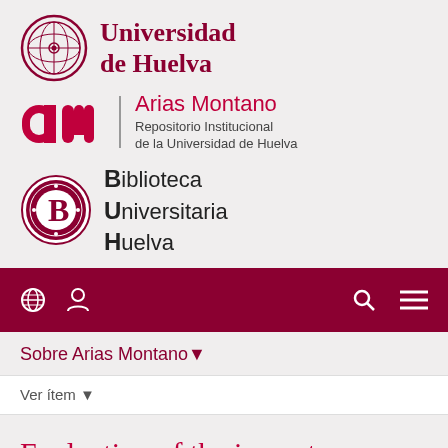[Figure (logo): Universidad de Huelva logo with circular seal and text 'Universidad de Huelva' in dark red serif font]
[Figure (logo): Arias Montano repositorio institucional logo with red 'am' letters and text 'Arias Montano Repositorio Institucional de la Universidad de Huelva']
[Figure (logo): Biblioteca Universitaria Huelva logo with circular B emblem and text 'Biblioteca Universitaria Huelva']
Navigation bar with globe icon, user icon, search icon, and menu icon
Sobre Arias Montano▾
Ver ítem ▾
Evaluation of the impact